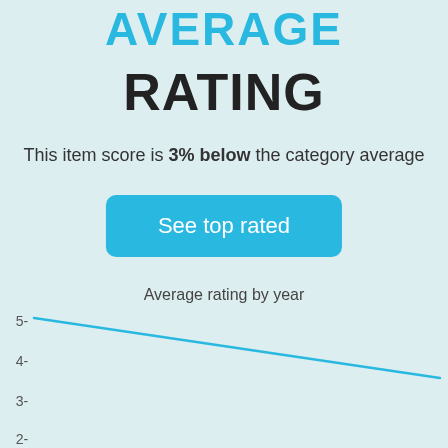AVERAGE
RATING
This item score is 3% below the category average
See top rated
Average rating by year
[Figure (line-chart): Average rating by year]